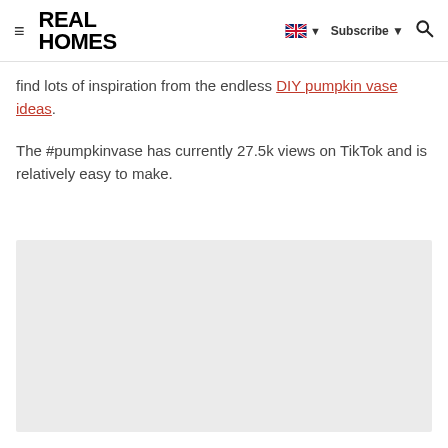REAL HOMES
find lots of inspiration from the endless DIY pumpkin vase ideas.
The #pumpkinvase has currently 27.5k views on TikTok and is relatively easy to make.
[Figure (photo): Placeholder image area (light grey rectangle)]